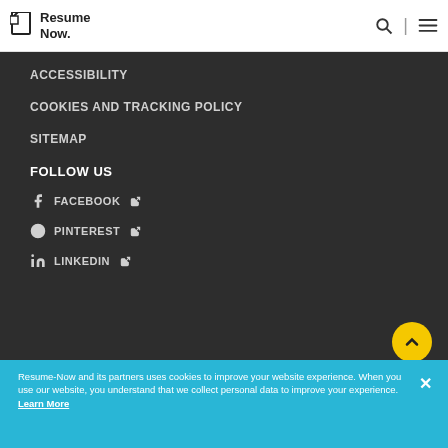Resume Now.
ACCESSIBILITY
COOKIES AND TRACKING POLICY
SITEMAP
FOLLOW US
FACEBOOK
PINTEREST
LINKEDIN
©2022. NOW Limited. All rights reserved.
Resume-Now and its partners uses cookies to improve your website experience. When you use our website, you understand that we collect personal data to improve your experience. Learn More